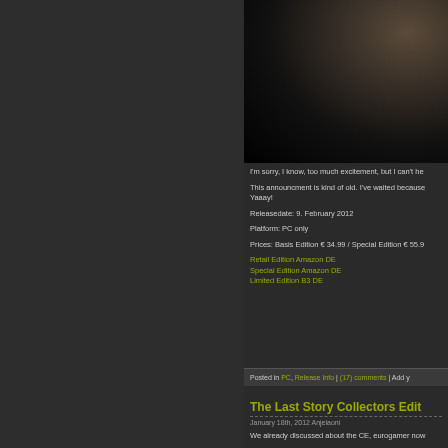[Figure (photo): Dark screenshot or game image partially visible at top right]
I'm sorry, I know, too much excitement, but I can't he
This announcment is kind of old. I've waited because... Yaaay!
Releasedate: 9. February 2012
Platform: PC only
Prices: Basis Edition € 34.99 / Special Edition € 55.9
Retail Edition Amazon DE
Special Edition Amazon DE
Limited Edition B3 DE
Posted in PC, Release Info | (17) comments | Add y
The Last Story Collectors Edit
January 18th, 2012 Anjelaoni
We already discussed about the CE, eurogamer now